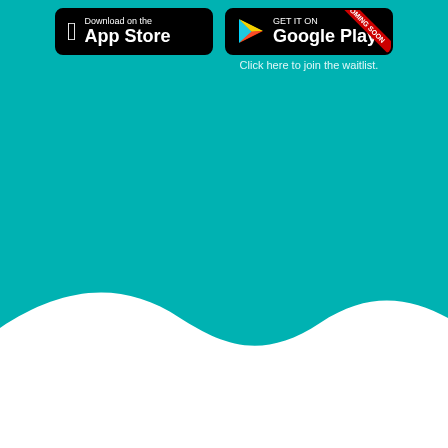[Figure (screenshot): App Store download button (black rounded rectangle, Apple logo, 'Download on the App Store') and Google Play button (black rounded rectangle, Google Play triangle logo, 'GET IT ON Google Play' with a red 'COMING SOON' diagonal ribbon banner). Below Google Play button: 'Click here to join the waitlist.' text. Background is teal/turquoise. Bottom portion has a white wave shape.]